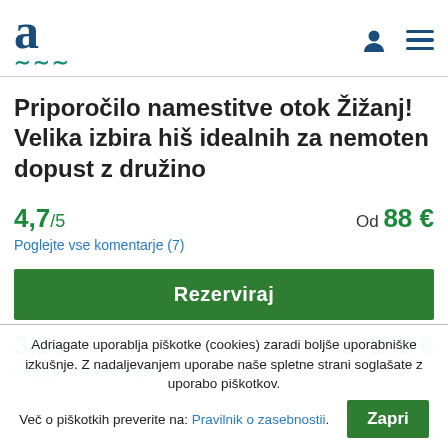[Figure (logo): Adriagate logo: stylized letter 'a' with wave underline in teal/navy colors]
Priporočilo namestitve otok Žižanj! Velika izbira hiš idealnih za nemoten dopust z družino
4,7/5   Od 88 €
Poglejte vse komentarje (7)
Rezerviraj
3,8/5   Od 102 €
Poglejte vse komentarje (2)
Adriagate uporablja piškotke (cookies) zaradi boljše uporabniške izkušnje. Z nadaljevanjem uporabe naše spletne strani soglašate z uporabo piškotkov.
Več o piškotkih preverite na: Pravilnik o zasebnostii.
Zapri